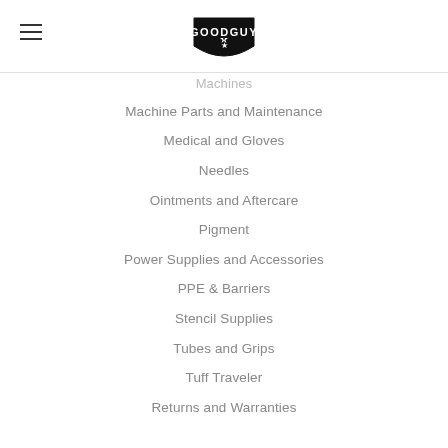GOODGUY
Machines
Machine Parts and Maintenance
Medical and Gloves
Needles
Ointments and Aftercare
Pigment
Power Supplies and Accessories
PPE & Barriers
Stencil Supplies
Tubes and Grips
Tuff Traveler
Returns and Warranties
Popular Brands
GGS
Chroma
raw
Waverly